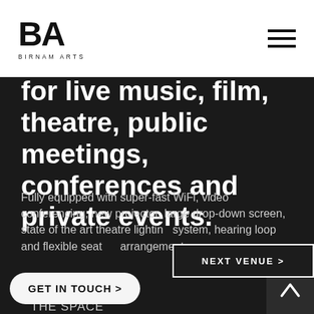BA BIRNAM ARTS
for live music, film, theatre, public meetings, conferences and private events.
Fully equipped with super-fast WiFi, video conferencing, new projector, large drop-down screen, state of the art theatre lighting system, hearing loop and flexible seating arrangements.
THE SPACE
REVIEWS
IMAGES
USING OUR SPACES
...ITY
NEXT VENUE >
GET IN TOUCH >